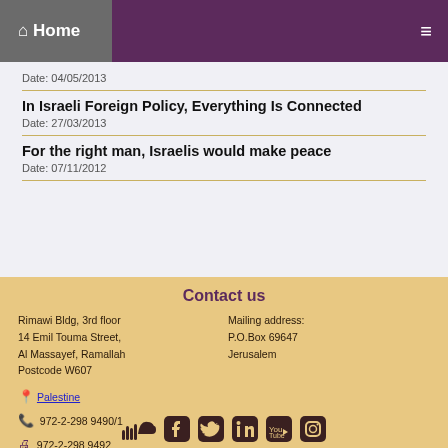Home
Date: 04/05/2013
In Israeli Foreign Policy, Everything Is Connected
Date: 27/03/2013
For the right man, Israelis would make peace
Date: 07/11/2012
Contact us
Rimawi Bldg, 3rd floor
14 Emil Touma Street,
Al Massayef, Ramallah
Postcode W607
Mailing address:
P.O.Box 69647
Jerusalem
Palestine
972-2-298 9490/1
972-2-298 9492
info@miftah.org